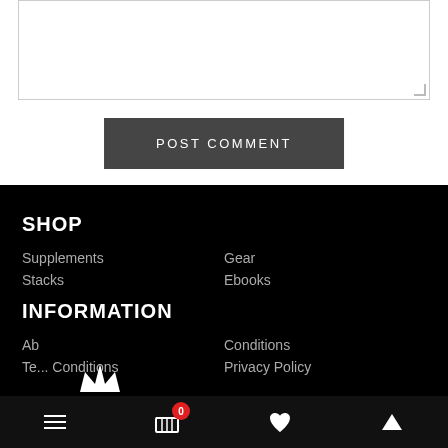[Figure (screenshot): Text area input box]
POST COMMENT
SHOP
Supplements
Stacks
Gear
Ebooks
INFORMATION
Ab...
Te... Conditions
Conditions
Privacy Policy
Navigation bar with hamburger menu, cart (0), heart, and up-arrow icons